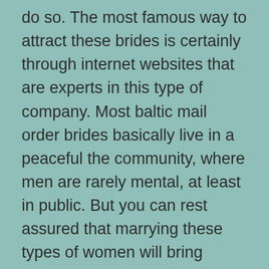do so. The most famous way to attract these brides is certainly through internet websites that are experts in this type of company. Most baltic mail order brides basically live in a peaceful the community, where men are rarely mental, at least in public. But you can rest assured that marrying these types of women will bring enjoyment, joy, and love to your new life! Many women who will be in this situation have the option of traveling to an English speaking country, where they will meet and fall in love with a male who talks the language they speak. Some of the other benefits of